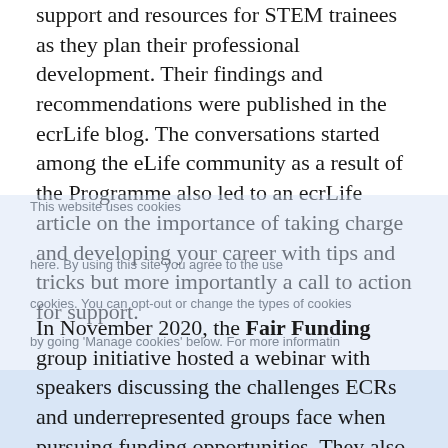support and resources for STEM trainees as they plan their professional development. Their findings and recommendations were published in the ecrLife blog. The conversations started among the eLife community as a result of the Programme also led to an ecrLife article on the importance of taking charge and developing your career with tips and tricks but more importantly a call to action for support.
In November 2020, the Fair Funding group initiative hosted a webinar with speakers discussing the challenges ECRs and underrepresented groups face when pursuing funding opportunities. They also suggested examples of how funding could be made fairer and be awarded to researchers based on their research ability and potential. Their article in the Journal of Science Policy and Governance examines funding practices and barriers, as well as